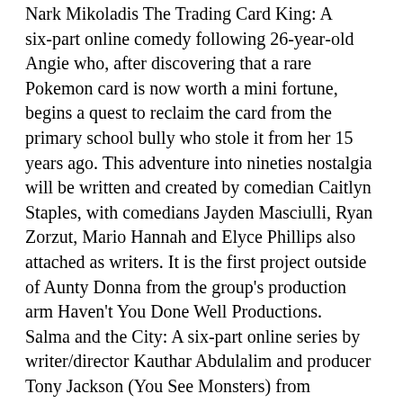Nark Mikoladis The Trading Card King: A six-part online comedy following 26-year-old Angie who, after discovering that a rare Pokemon card is now worth a mini fortune, begins a quest to reclaim the card from the primary school bully who stole it from her 15 years ago. This adventure into nineties nostalgia will be written and created by comedian Caitlyn Staples, with comedians Jayden Masciulli, Ryan Zorzut, Mario Hannah and Elyce Phillips also attached as writers. It is the first project outside of Aunty Donna from the group's production arm Haven't You Done Well Productions.
Salma and the City: A six-part online series by writer/director Kauthar Abdulalim and producer Tony Jackson (You See Monsters) from Chemical Media. This project tells the story of a 45-year-old Australian-Pakistani mother who suddenly decides it's time to